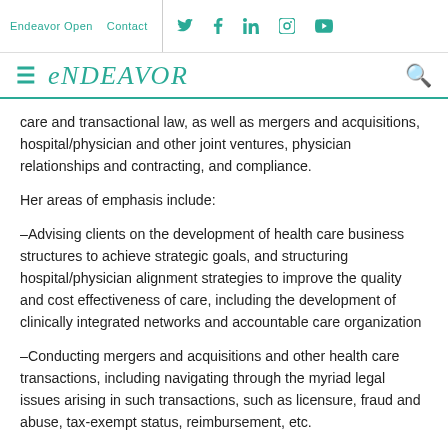Endeavor Open | Contact | [social icons]
≡ ENDEAVOR [search icon]
care and transactional law, as well as mergers and acquisitions, hospital/physician and other joint ventures, physician relationships and contracting, and compliance.
Her areas of emphasis include:
–Advising clients on the development of health care business structures to achieve strategic goals, and structuring hospital/physician alignment strategies to improve the quality and cost effectiveness of care, including the development of clinically integrated networks and accountable care organization
–Conducting mergers and acquisitions and other health care transactions, including navigating through the myriad legal issues arising in such transactions, such as licensure, fraud and abuse, tax-exempt status, reimbursement, etc.